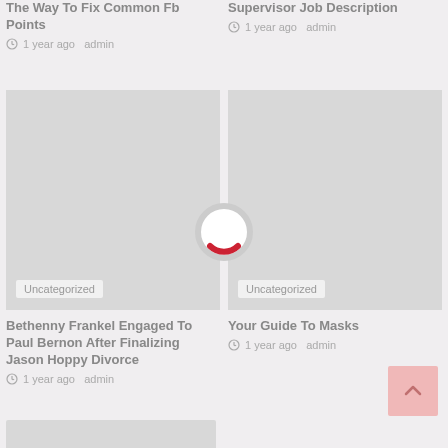The Way To Fix Common Fb Points
1 year ago  admin
Supervisor Job Description
1 year ago  admin
[Figure (photo): Gray placeholder image with Uncategorized badge overlay]
[Figure (photo): Gray placeholder image with Uncategorized badge overlay]
[Figure (other): Loading spinner circle with red arc at bottom center]
Bethenny Frankel Engaged To Paul Bernon After Finalizing Jason Hoppy Divorce
1 year ago  admin
Your Guide To Masks
1 year ago  admin
[Figure (other): Back to top button with upward arrow, pink background]
[Figure (photo): Gray placeholder image strip at bottom left, partially visible]